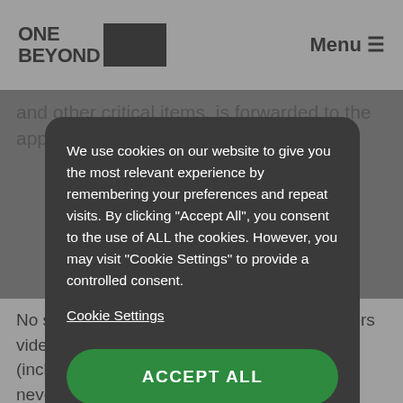ONE BEYOND  Menu
and other critical items, is forwarded to the app and p...
[Figure (screenshot): Cookie consent modal dialog with dark background overlay on a website. Contains cookie notice text, Cookie Settings link, and Accept All button.]
We use cookies on our website to give you the most relevant experience by remembering your preferences and repeat visits. By clicking “Accept All”, you consent to the use of ALL the cookies. However, you may visit "Cookie Settings" to provide a controlled consent.
Cookie Settings
ACCEPT ALL
No stranger to the business world, Skype offers video and phone services on every platform (including some TVs) and in HD-quality. You’ll never have to miss another